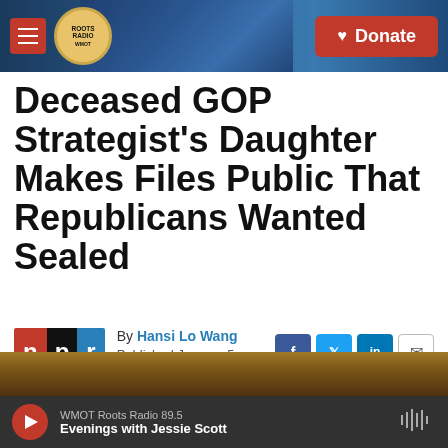WMOT Roots Radio | Donate
Deceased GOP Strategist's Daughter Makes Files Public That Republicans Wanted Sealed
By Hansi Lo Wang
Published January 5, 2020 at 12:51 PM CST
[Figure (photo): Partial photo visible at bottom of article, person or scene in warm tones]
WMOT Roots Radio 89.5 | Evenings with Jessie Scott